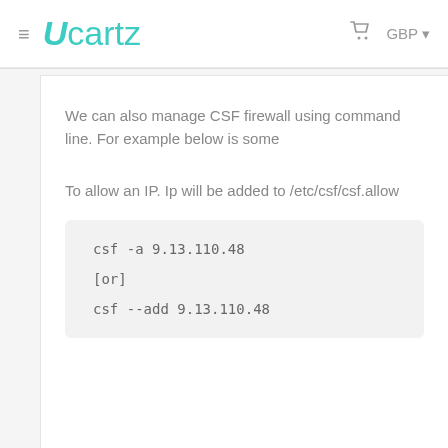≡  Ucartz  GBP
We can also manage CSF firewall using command line. For example below is some
To allow an IP. Ip will be added to /etc/csf/csf.allow
csf -a 9.13.110.48
[or]
csf --add 9.13.110.48